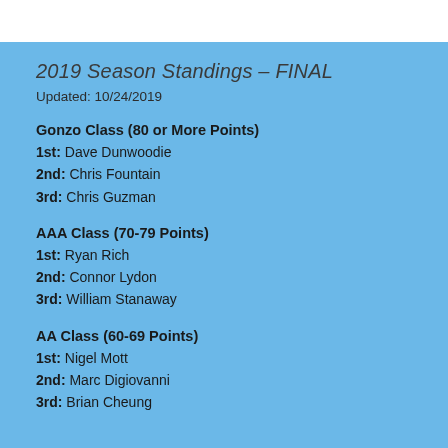2019 Season Standings – FINAL
Updated: 10/24/2019
Gonzo Class (80 or More Points)
1st: Dave Dunwoodie
2nd: Chris Fountain
3rd: Chris Guzman
AAA Class (70-79 Points)
1st: Ryan Rich
2nd: Connor Lydon
3rd: William Stanaway
AA Class (60-69 Points)
1st: Nigel Mott
2nd: Marc Digiovanni
3rd: Brian Cheung